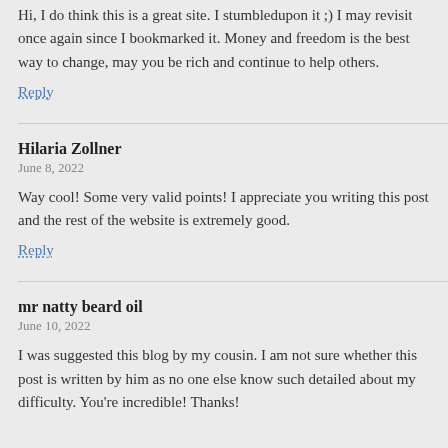Hi, I do think this is a great site. I stumbledupon it ;) I may revisit once again since I bookmarked it. Money and freedom is the best way to change, may you be rich and continue to help others.
Reply
Hilaria Zollner
June 8, 2022
Way cool! Some very valid points! I appreciate you writing this post and the rest of the website is extremely good.
Reply
mr natty beard oil
June 10, 2022
I was suggested this blog by my cousin. I am not sure whether this post is written by him as no one else know such detailed about my difficulty. You're incredible! Thanks!